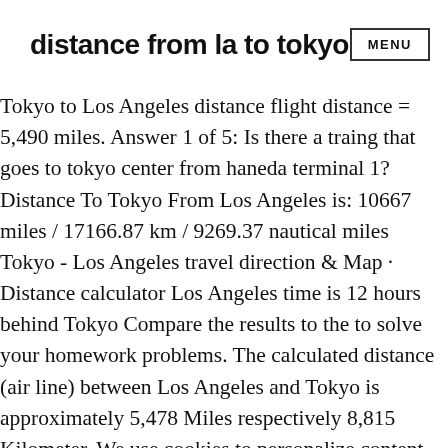distance from la to tokyo   MENU
Tokyo to Los Angeles distance flight distance = 5,490 miles. Answer 1 of 5: Is there a traing that goes to tokyo center from haneda terminal 1? Distance To Tokyo From Los Angeles is: 10667 miles / 17166.87 km / 9269.37 nautical miles Tokyo - Los Angeles travel direction & Map · Distance calculator Los Angeles time is 12 hours behind Tokyo Compare the results to the to solve your homework problems. The calculated distance (air line) between Los Angeles and Tokyo is approximately 5,478 Miles respectively 8,815 Kilometer. We use cookies to personalize content and ads and to analyze traffic to